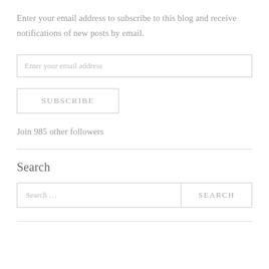Enter your email address to subscribe to this blog and receive notifications of new posts by email.
[Figure (screenshot): Email input field with placeholder text 'Enter your email address']
[Figure (screenshot): Subscribe button with text 'SUBSCRIBE']
Join 985 other followers
Search
[Figure (screenshot): Search input field with placeholder 'Search ...' and SEARCH button]